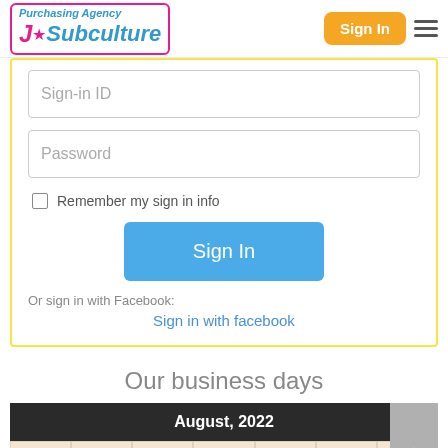Purchasing Agency J★Subculture | Sign In
Sign-in ID
Password
Remember my sign in info
Sign In
Or sign in with Facebook:
Sign in with facebook
Our business days
| Sun | Mon | Tue | Wed | Thu | Fri | Sat |
| --- | --- | --- | --- | --- | --- | --- |
|  | 1 | 2 | 3 | 4 | 5 |  |